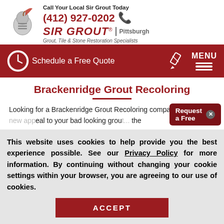[Figure (logo): Sir Grout knight helmet logo with feather quill]
Call Your Local Sir Grout Today
(412) 927-0202
SIR GROUT® | Pittsburgh
Grout, Tile & Stone Restoration Specialists
[Figure (infographic): Red navigation bar with clock icon Schedule a Free Quote, pencil icon, and MENU hamburger lines]
Brackenridge Grout Recoloring
Looking for a Brackenridge Grout Recoloring company to bring new appeal to your bad looking grout... the
[Figure (screenshot): Request a Free popup overlay button in dark red]
This website uses cookies to help provide you the best experience possible. See our Privacy Policy for more information. By continuing without changing your cookie settings within your browser, you are agreeing to our use of cookies.
ACCEPT